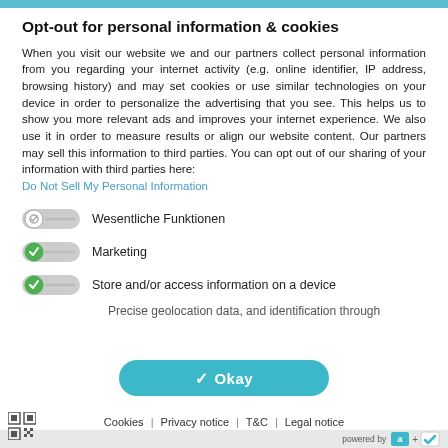Opt-out for personal information & cookies
When you visit our website we and our partners collect personal information from you regarding your internet activity (e.g. online identifier, IP address, browsing history) and may set cookies or use similar technologies on your device in order to personalize the advertising that you see. This helps us to show you more relevant ads and improves your internet experience. We also use it in order to measure results or align our website content. Our partners may sell this information to third parties. You can opt out of our sharing of your information with third parties here: Do Not Sell My Personal Information
Wesentliche Funktionen
Marketing
Store and/or access information on a device
Precise geolocation data, and identification through...
Okay
Cookies | Privacy notice | T&C | Legal notice
powered by